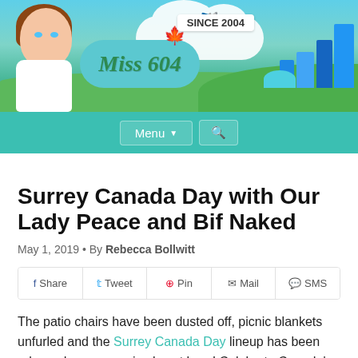[Figure (illustration): Miss604 blog header banner with cartoon woman, Miss604 logo in green script on teal bubble, maple leaf, airplane, 'SINCE 2004' banner, city skyline on right, sky and green ground background]
Menu  🔍
Surrey Canada Day with Our Lady Peace and Bif Naked
May 1, 2019 • By Rebecca Bollwitt
Share  Tweet  Pin  Mail  SMS
The patio chairs have been dusted off, picnic blankets unfurled and the Surrey Canada Day lineup has been released... summer is almost here! Celebrate Canada's